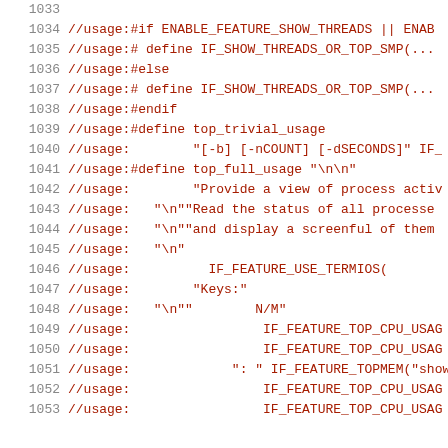[Figure (screenshot): Source code listing lines 1033-1053 showing C preprocessor usage macros for top command, displayed in monospace font with red code and grey line numbers on white background.]